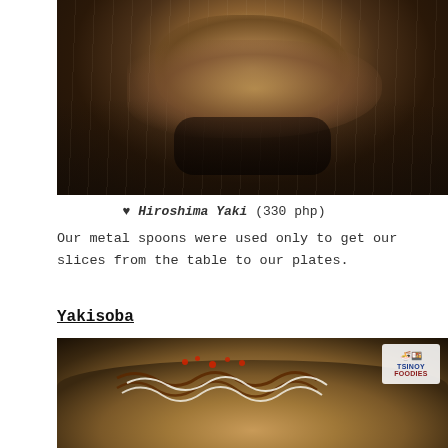[Figure (photo): Close-up photo of Hiroshima Yaki on a metal griddle surface, showing a piece being lifted with a spatula, with sauce drizzled on top]
♥ Hiroshima Yaki (330 php)
Our metal spoons were used only to get our slices from the table to our plates.
Yakisoba
[Figure (photo): Photo of Yakisoba dish with brown sauce and white mayo drizzled on top, with red toppings, on a dark wooden surface. TSINOY FOODIES logo in top right corner.]